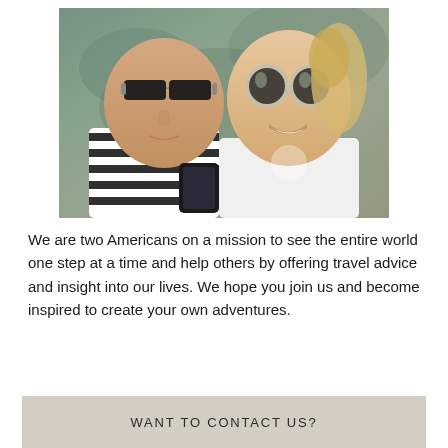[Figure (photo): Two people lying down taking a selfie. The person on the left wears dark rectangular sunglasses and a black-and-white striped shirt. The person on the right wears round mirrored sunglasses and a white top, smiling. Background is teal/green fabric.]
We are two Americans on a mission to see the entire world one step at a time and help others by offering travel advice and insight into our lives. We hope you join us and become inspired to create your own adventures.
WANT TO CONTACT US?